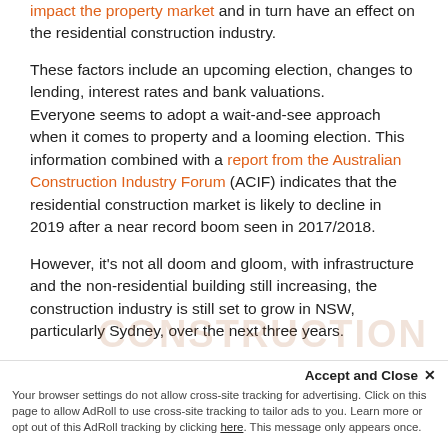impact the property market and in turn have an effect on the residential construction industry.
These factors include an upcoming election, changes to lending, interest rates and bank valuations. Everyone seems to adopt a wait-and-see approach when it comes to property and a looming election. This information combined with a report from the Australian Construction Industry Forum (ACIF) indicates that the residential construction market is likely to decline in 2019 after a near record boom seen in 2017/2018.
However, it's not all doom and gloom, with infrastructure and the non-residential building still increasing, the construction industry is still set to grow in NSW, particularly Sydney, over the next three years.
Accept and Close ×
Your browser settings do not allow cross-site tracking for advertising. Click on this page to allow AdRoll to use cross-site tracking to tailor ads to you. Learn more or opt out of this AdRoll tracking by clicking here. This message only appears once.